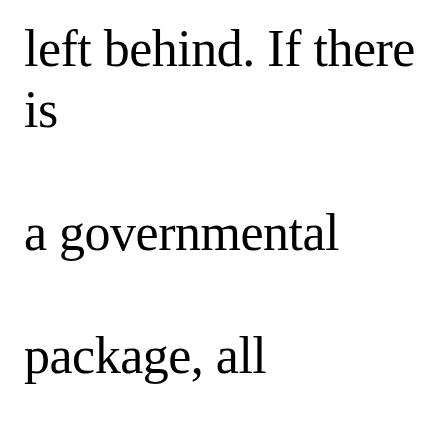left behind. If there is a governmental package, all members should rightfully be entitled.

For all members and